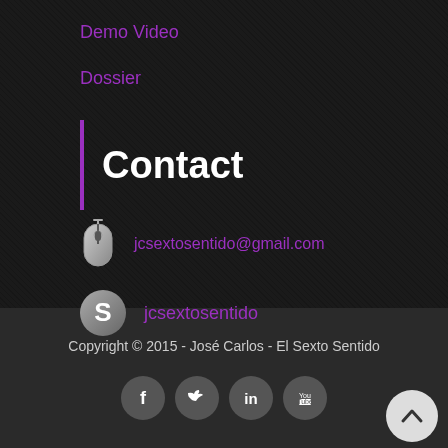Demo Video
Dossier
Contact
jcsextosentido@gmail.com
jcsextosentido
Copyright © 2015 - José Carlos - El Sexto Sentido